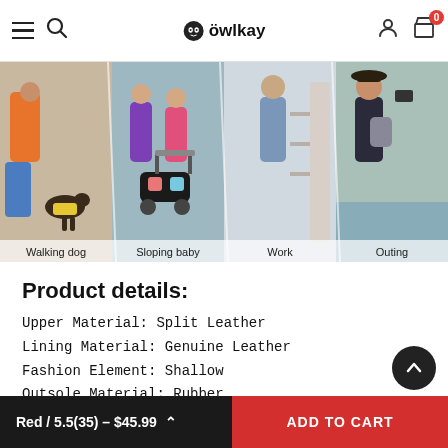öwlkay — navigation bar with hamburger menu, search, logo, user icon, cart (0)
[Figure (photo): Four lifestyle scene panels: Walking dog (woman with dog in yellow vest), Sloping baby (two women pushing a stroller), Work (woman at a shelf/workspace), Outing (woman with backpack taking a photo by water)]
Product details:
Upper Material: Split Leather
Lining Material: Genuine Leather
Fashion Element: Shallow
Outsole Material: Rubber
Season: Spring/Autumn
Closure Type: Slip-On
Pattern Type: Print
Red / 5.5(35) – $45.99  ADD TO CART